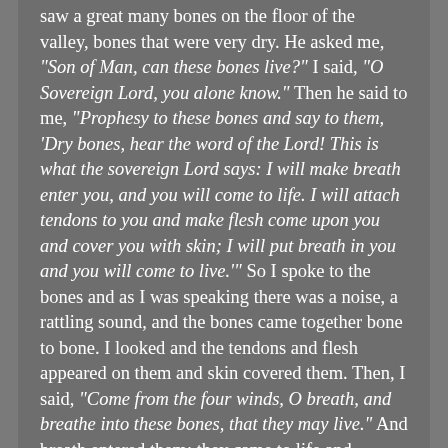saw a great many bones on the floor of the valley, bones that were very dry. He asked me, "Son of Man, can these bones live?" I said, "O Sovereign Lord, you alone know." Then he said to me, "Prophesy to these bones and say to them, 'Dry bones, hear the word of the Lord! This is what the sovereign Lord says: I will make breath enter you, and you will come to life. I will attach tendons to you and make flesh come upon you and cover you with skin; I will put breath in you and you will come to live.'" So I spoke to the bones and as I was speaking there was a noise, a rattling sound, and the bones came together bone to bone. I looked and the tendons and flesh appeared on them and skin covered them. Then, I said, "Come from the four winds, O breath, and breathe into these bones, that they may live." And breath entered them; they came to life and